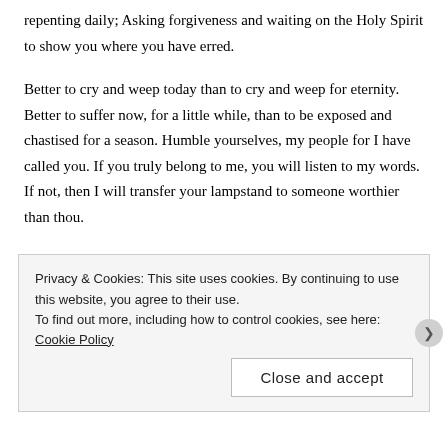repenting daily; Asking forgiveness and waiting on the Holy Spirit to show you where you have erred.
Better to cry and weep today than to cry and weep for eternity. Better to suffer now, for a little while, than to be exposed and chastised for a season. Humble yourselves, my people for I have called you. If you truly belong to me, you will listen to my words. If not, then I will transfer your lampstand to someone worthier than thou.
Praise me! Praise me for my grace and mercy; for the warning and the opportunity to repent and change your mind. Praise me for my goodness, for I am truly good, all the time.
Wait upon the Lord, Wait upon the Lord. For I surely shall fill your cup
Privacy & Cookies: This site uses cookies. By continuing to use this website, you agree to their use.
To find out more, including how to control cookies, see here: Cookie Policy
Close and accept